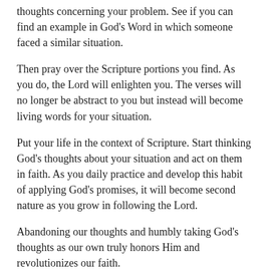thoughts concerning your problem. See if you can find an example in God's Word in which someone faced a similar situation.
Then pray over the Scripture portions you find. As you do, the Lord will enlighten you. The verses will no longer be abstract to you but instead will become living words for your situation.
Put your life in the context of Scripture. Start thinking God's thoughts about your situation and act on them in faith. As you daily practice and develop this habit of applying God's promises, it will become second nature as you grow in following the Lord.
Abandoning our thoughts and humbly taking God's thoughts as our own truly honors Him and revolutionizes our faith.
Start acting on God's Word today. Don't delay.